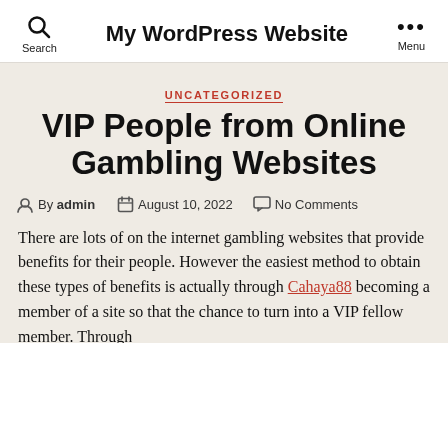Search | My WordPress Website | Menu
UNCATEGORIZED
VIP People from Online Gambling Websites
By admin  August 10, 2022  No Comments
There are lots of on the internet gambling websites that provide benefits for their people. However the easiest method to obtain these types of benefits is actually through Cahaya88 becoming a member of a site so that the chance to turn into a VIP fellow member. Through